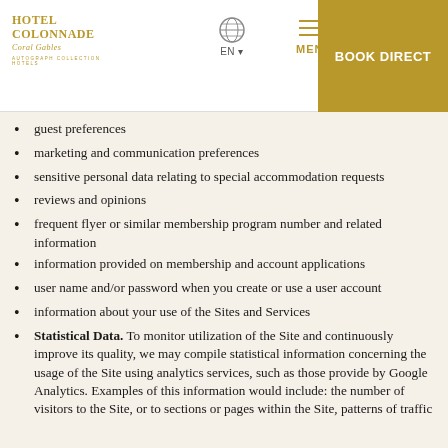Hotel Colonnade | EN | MENU | BOOK DIRECT
guest preferences
marketing and communication preferences
sensitive personal data relating to special accommodation requests
reviews and opinions
frequent flyer or similar membership program number and related information
information provided on membership and account applications
user name and/or password when you create or use a user account
information about your use of the Sites and Services
Statistical Data. To monitor utilization of the Site and continuously improve its quality, we may compile statistical information concerning the usage of the Site using analytics services, such as those provide by Google Analytics. Examples of this information would include: the number of visitors to the Site, or to sections or pages within the Site, patterns of traffic